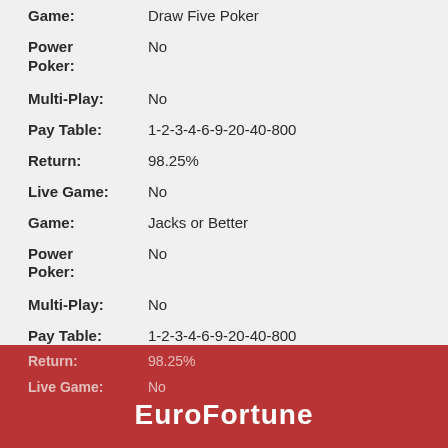Game: Draw Five Poker
Power Poker: No
Multi-Play: No
Pay Table: 1-2-3-4-6-9-20-40-800
Return: 98.25%
Live Game: No
Game: Jacks or Better
Power Poker: No
Multi-Play: No
Pay Table: 1-2-3-4-6-9-20-40-800
Return: 98.25%
Live Game: No
EuroFortune